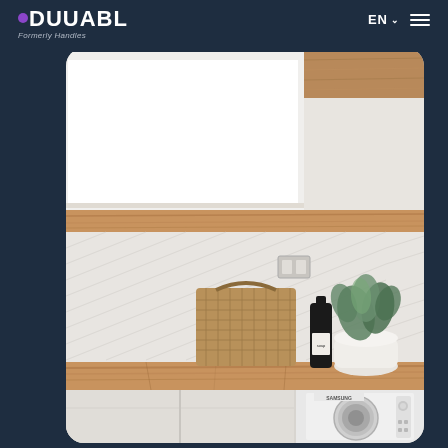DUUABL — Formerly Handles | EN navigation
[Figure (photo): Interior laundry room photo showing white and timber cabinetry with wooden butcher-block countertop, textured chevron tile backsplash, wicker basket, potted plants, dark glass bottles, and Samsung front-load washing machine at bottom right. Rounded rectangle card layout on dark navy background.]